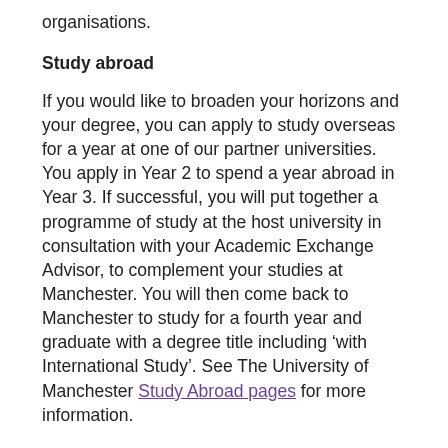organisations.
Study abroad
If you would like to broaden your horizons and your degree, you can apply to study overseas for a year at one of our partner universities. You apply in Year 2 to spend a year abroad in Year 3. If successful, you will put together a programme of study at the host university in consultation with your Academic Exchange Advisor, to complement your studies at Manchester. You will then come back to Manchester to study for a fourth year and graduate with a degree title including ‘with International Study’. See The University of Manchester Study Abroad pages for more information.
Professional Experience Year Opportunity
You apply in year 1 to boost your employability